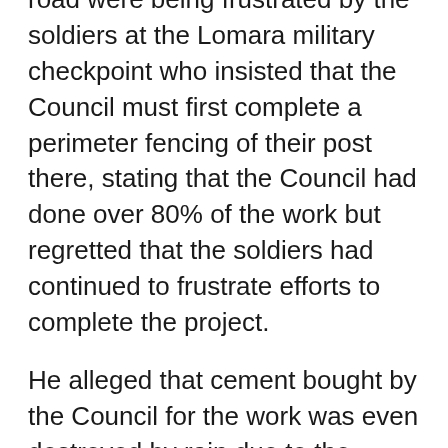road were being frustrated by the soldiers at the Lomara military checkpoint who insisted that the Council must first complete a perimeter fencing of their post there, stating that the Council had done over 80% of the work but regretted that the soldiers had continued to frustrate efforts to complete the project.
He alleged that cement bought by the Council for the work was even destroyed by rain due to the hostile attitude of the soldiers adding that the Council was already overwhelmed by the security challenges in the area, and appealed to both the State and Federal Government to come to their rescue.
When contacted, Spokesman, 14 Brigade Ohafia, Lt Omale, said he was in a conference.
Leaders of the Cattle market in the area have always